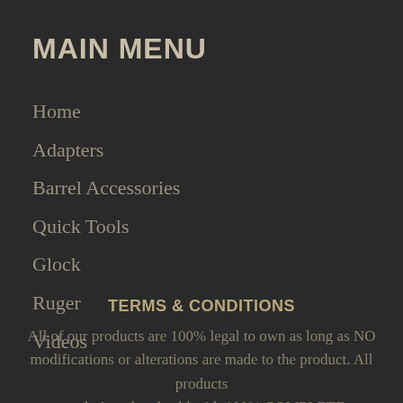MAIN MENU
Home
Adapters
Barrel Accessories
Quick Tools
Glock
Ruger
Videos
TERMS & CONDITIONS
All of our products are 100% legal to own as long as NO modifications or alterations are made to the product. All products are designed and sold with 100% COMPLETE COMPLIANCE